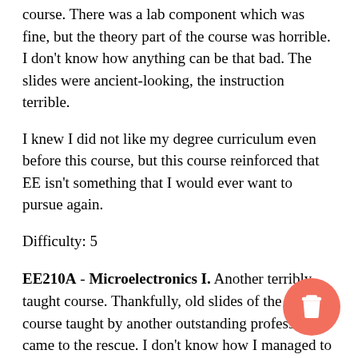course. There was a lab component which was fine, but the theory part of the course was horrible. I don't know how anything can be that bad. The slides were ancient-looking, the instruction terrible.
I knew I did not like my degree curriculum even before this course, but this course reinforced that EE isn't something that I would ever want to pursue again.
Difficulty: 5
EE210A - Microelectronics I. Another terribly taught course. Thankfully, old slides of the same course taught by another outstanding professor came to the rescue. I don't know how I managed to pass this class. The highest total during my semester was about 55 out of 100. The end-semester exam questions seemed like they were out of the blue. Unsurprisingly, most ended up with terrible scores.